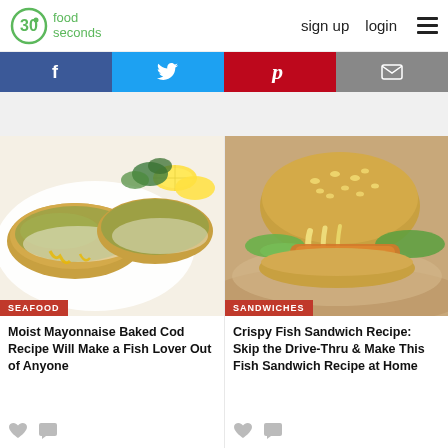30seconds food — sign up  login
[Figure (screenshot): Social share buttons: Facebook (blue), Twitter (light blue), Pinterest (red), Email (gray)]
[Figure (photo): Moist mayonnaise baked cod fillets with herb crust, lemon slices and parsley on white plate. Tag: SEAFOOD]
Moist Mayonnaise Baked Cod Recipe Will Make a Fish Lover Out of Anyone
[Figure (photo): Crispy fish sandwich on a sesame bun with melted cheese sauce, lettuce, on wooden board. Tag: SANDWICHES]
Crispy Fish Sandwich Recipe: Skip the Drive-Thru & Make This Fish Sandwich Recipe at Home